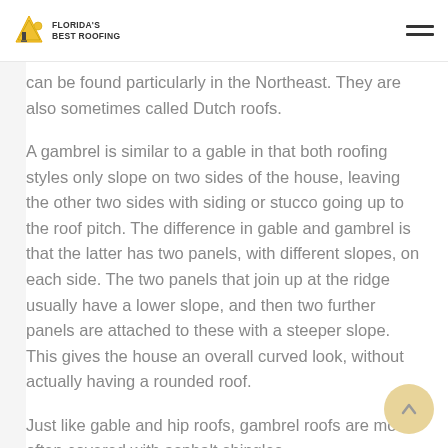Florida's Best Roofing
can be found particularly in the Northeast. They are also sometimes called Dutch roofs.
A gambrel is similar to a gable in that both roofing styles only slope on two sides of the house, leaving the other two sides with siding or stucco going up to the roof pitch. The difference in gable and gambrel is that the latter has two panels, with different slopes, on each side. The two panels that join up at the ridge usually have a lower slope, and then two further panels are attached to these with a steeper slope. This gives the house an overall curved look, without actually having a rounded roof.
Just like gable and hip roofs, gambrel roofs are most often covered with asphalt shingles,